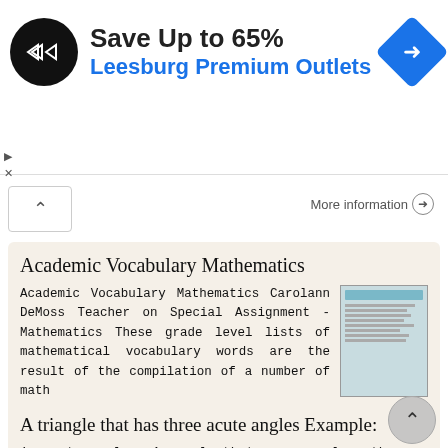[Figure (screenshot): Advertisement banner: Save Up to 65% Leesburg Premium Outlets, with logo and navigation arrow icon]
Academic Vocabulary Mathematics
Academic Vocabulary Mathematics Carolann DeMoss Teacher on Special Assignment - Mathematics These grade level lists of mathematical vocabulary words are the result of the compilation of a number of math
More information ➜
A triangle that has three acute angles Example:
1. acute angle : An angle that measures less than a right angle (90 ). 2. acute triangle : A